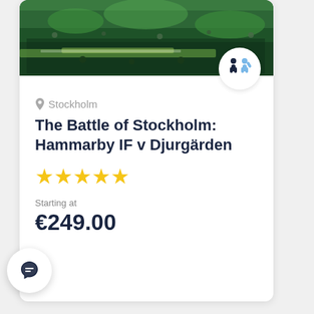[Figure (photo): Hero image of a football match crowd with green and white flags/banners at a stadium, representing a Hammarby IF match.]
[Figure (logo): Tour operator or travel company logo — two stylized human figures in dark blue and light blue.]
Stockholm
The Battle of Stockholm: Hammarby IF v Djurgärden
[Figure (other): Five yellow star rating icons]
Starting at
€249.00
[Figure (other): Chat bubble icon button in dark navy on white circular background]